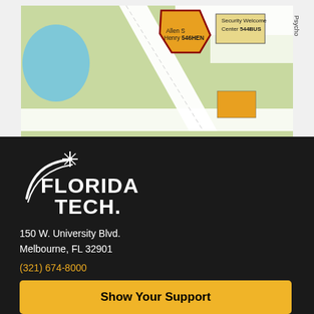[Figure (map): Campus map showing Allen S Henry 546HEN, Security Welcome Center 544BUS, and Psychology area, with roads, green spaces, and a water body]
[Figure (logo): Florida Tech logo — white star with swoosh arc over white bold text FLORIDA TECH on dark background]
150 W. University Blvd.
Melbourne, FL 32901
(321) 674-8000
Show Your Support